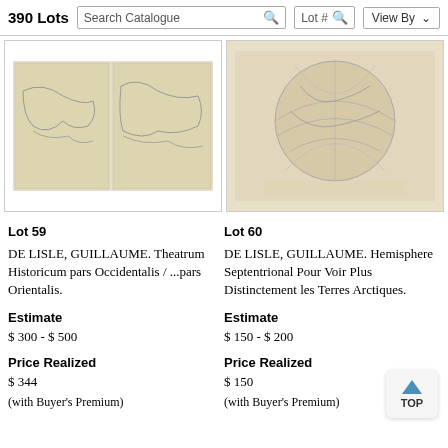390 Lots  Search Catalogue  Lot #  View By
[Figure (photo): Lot 59 map image: Theatrum Historicum pars Occidentalis / ...pars Orientalis, antique map in two panels]
[Figure (photo): Lot 60 map image: Hemisphere Septentrional Pour Voir Plus Distinctement les Terres Arctiques, antique hemisphere map]
Lot 59
DE LISLE, GUILLAUME. Theatrum Historicum pars Occidentalis / ...pars Orientalis.
Estimate
$ 300 - $ 500
Price Realized
$ 344
(with Buyer's Premium)
Lot 60
DE LISLE, GUILLAUME. Hemisphere Septentrional Pour Voir Plus Distinctement les Terres Arctiques.
Estimate
$ 150 - $ 200
Price Realized
$ 150
(with Buyer's Premium)